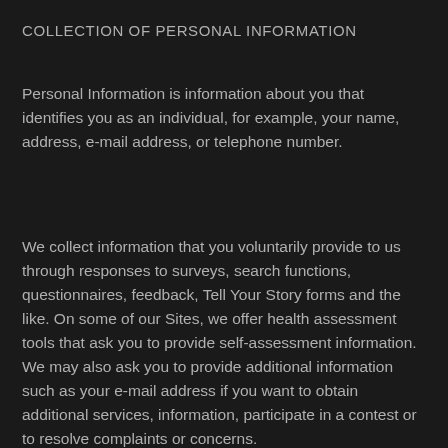COLLECTION OF PERSONAL INFORMATION
Personal Information is information about you that identifies you as an individual, for example, your name, address, e-mail address, or telephone number.
We collect information that you voluntarily provide to us through responses to surveys, search functions, questionnaires, feedback, Tell Your Story forms and the like. On some of our Sites, we offer health assessment tools that ask you to provide self-assessment information. We may also ask you to provide additional information such as your e-mail address if you want to obtain additional services, information, participate in a contest or to resolve complaints or concerns.